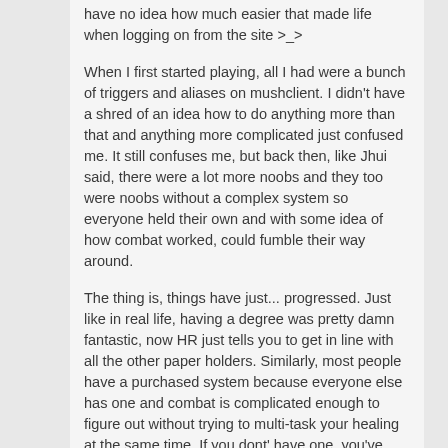have no idea how much easier that made life when logging on from the site >_>
When I first started playing, all I had were a bunch of triggers and aliases on mushclient. I didn't have a shred of an idea how to do anything more than that and anything more complicated just confused me. It still confuses me, but back then, like Jhui said, there were a lot more noobs and they too were noobs without a complex system so everyone held their own and with some idea of how combat worked, could fumble their way around.
The thing is, things have just... progressed. Just like in real life, having a degree was pretty damn fantastic, now HR just tells you to get in line with all the other paper holders. Similarly, most people have a purchased system because everyone else has one and combat is complicated enough to figure out without trying to multi-task your healing at the same time. If you dont' have one, you've essentially fallen behind.